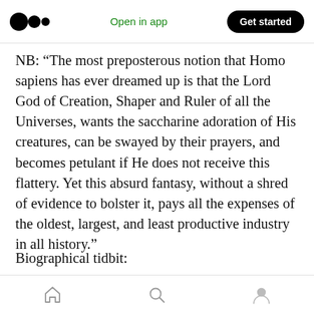Medium logo | Open in app | Get started
NB: “The most preposterous notion that Homo sapiens has ever dreamed up is that the Lord God of Creation, Shaper and Ruler of all the Universes, wants the saccharine adoration of His creatures, can be swayed by their prayers, and becomes petulant if He does not receive this flattery. Yet this absurd fantasy, without a shred of evidence to bolster it, pays all the expenses of the oldest, largest, and least productive industry in all history.”
Biographical tidbit:
Home | Search | Profile